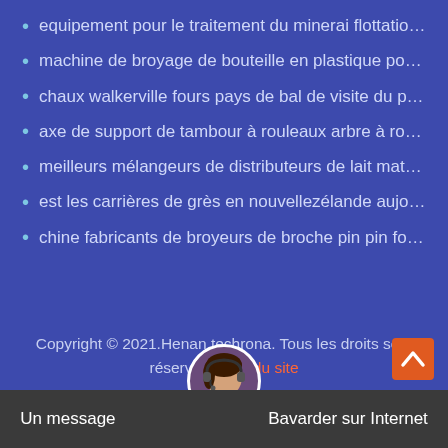equipement pour le traitement du minerai flottation ma…
machine de broyage de bouteille en plastique pour gén…
chaux walkerville fours pays de bal de visite du patrimoi…
axe de support de tambour à rouleaux arbre à rouleaux …
meilleurs mélangeurs de distributeurs de lait maternisé
est les carrières de grès en nouvellezélande aujourd'hui
chine fabricants de broyeurs de broche pin pin fournisse…
Copyright © 2021.Henan techrona. Tous les droits sont réservés. Plan du site
Un message
Bavarder sur Internet